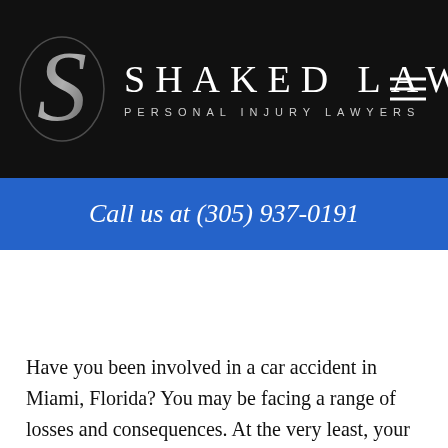SHAKED LAW PERSONAL INJURY LAWYERS
Call us at (305) 937-0191
Have you been involved in a car accident in Miami, Florida? You may be facing a range of losses and consequences. At the very least, your accident